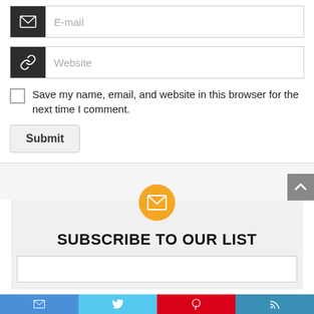[Figure (screenshot): Email input field with dark icon box showing envelope icon and placeholder text 'E-mail']
[Figure (screenshot): Website input field with dark icon box showing link icon and placeholder text 'Website']
Save my name, email, and website in this browser for the next time I comment.
Submit
SUBSCRIBE TO OUR LIST